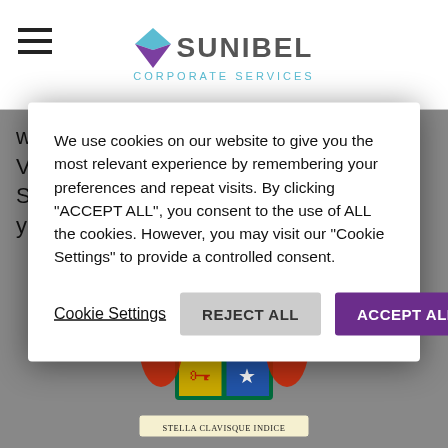Sunibel Corporate Services
we are pleased to announce the arrival of Vikash Chumun as Managing Director of Sunibel Corporate Services. With over 25 years of experience in a broad
We use cookies on our website to give you the most relevant experience by remembering your preferences and repeat visits. By clicking “ACCEPT ALL”, you consent to the use of ALL the cookies. However, you may visit our “Cookie Settings” to provide a controlled consent.
[Figure (illustration): Coat of arms with red and blue shield quarters, seahorse supporters on both sides, green trees in upper right, anchor in upper left, key in lower left, star in lower right, with motto banner reading STELLA CLAVISQUE INDICE at bottom]